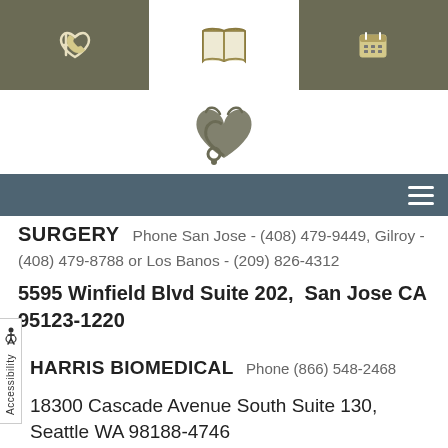[Figure (other): Top navigation bar with phone, map, and calendar icons on dark olive/green background]
[Figure (logo): Medical practice logo - stylized stethoscope/heart graphic in dark olive color]
[Figure (other): Dark teal navigation bar with hamburger menu icon]
SURGERY  Phone San Jose - (408) 479-9449, Gilroy - (408) 479-8788 or Los Banos - (209) 826-4312
5595 Winfield Blvd Suite 202,  San Jose CA 95123-1220
Accessibility
HARRIS BIOMEDICAL  Phone (866) 548-2468
18300 Cascade Avenue South Suite 130,  Seattle WA 98188-4746